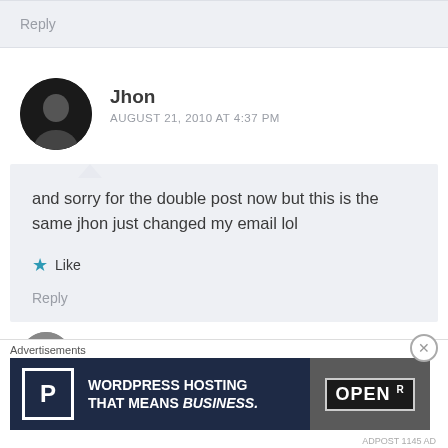Reply
Jhon
AUGUST 21, 2010 AT 4:37 PM
and sorry for the double post now but this is the same jhon just changed my email lol
★ Like
Reply
[Figure (photo): Partial avatar of next commenter, cropped at bottom]
Advertisements
[Figure (other): WordPress Hosting advertisement banner: 'WordPress Hosting that means business.' with P logo and OPEN sign photo]